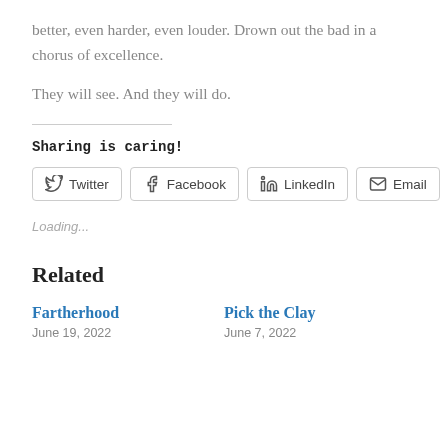better, even harder, even louder. Drown out the bad in a chorus of excellence.
They will see. And they will do.
Sharing is caring!
Twitter  Facebook  LinkedIn  Email
Loading...
Related
Fartherhood
June 19, 2022
Pick the Clay
June 7, 2022